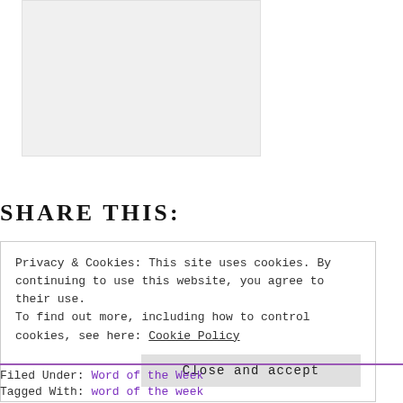[Figure (other): Light gray placeholder image box]
SHARE THIS:
Privacy & Cookies: This site uses cookies. By continuing to use this website, you agree to their use. To find out more, including how to control cookies, see here: Cookie Policy
Close and accept
Filed Under: Word of the Week
Tagged With: word of the week